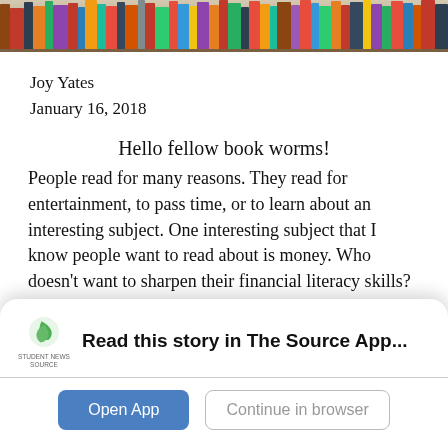[Figure (photo): Bookshelf with colorful books in background]
Joy Yates
January 16, 2018
Hello fellow book worms!
People read for many reasons. They read for entertainment, to pass time, or to learn about an interesting subject. One interesting subject that I know people want to read about is money. Who doesn't want to sharpen their financial literacy skills? I've read many books about money and finance. So, here are my top 3 books about money:
Read this story in The Source App...
Open App
Continue in browser